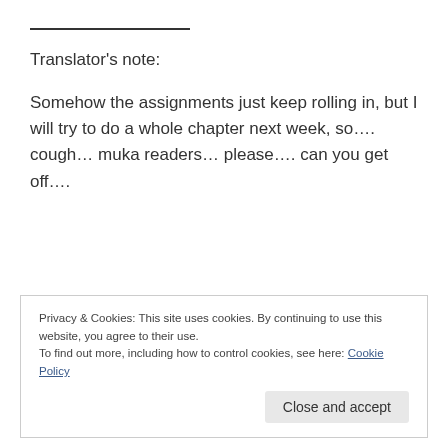_______________
Translator’s note:
Somehow the assignments just keep rolling in, but I will try to do a whole chapter next week, so…. cough… muka readers… please…. can you get off….
Privacy & Cookies: This site uses cookies. By continuing to use this website, you agree to their use. To find out more, including how to control cookies, see here: Cookie Policy